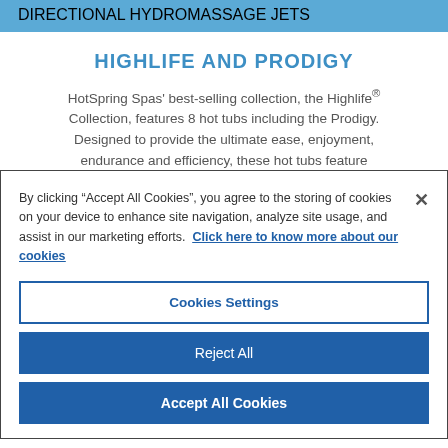DIRECTIONAL HYDROMASSAGE JETS
HIGHLIFE AND PRODIGY
HotSpring Spas' best-selling collection, the Highlife® Collection, features 8 hot tubs including the Prodigy. Designed to provide the ultimate ease, enjoyment, endurance and efficiency, these hot tubs feature…
By clicking "Accept All Cookies", you agree to the storing of cookies on your device to enhance site navigation, analyze site usage, and assist in our marketing efforts.  Click here to know more about our cookies
Cookies Settings
Reject All
Accept All Cookies